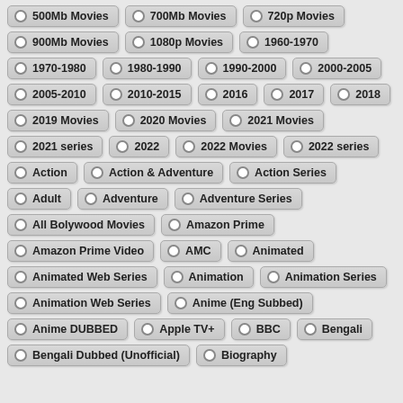500Mb Movies
700Mb Movies
720p Movies
900Mb Movies
1080p Movies
1960-1970
1970-1980
1980-1990
1990-2000
2000-2005
2005-2010
2010-2015
2016
2017
2018
2019 Movies
2020 Movies
2021 Movies
2021 series
2022
2022 Movies
2022 series
Action
Action & Adventure
Action Series
Adult
Adventure
Adventure Series
All Bolywood Movies
Amazon Prime
Amazon Prime Video
AMC
Animated
Animated Web Series
Animation
Animation Series
Animation Web Series
Anime (Eng Subbed)
Anime DUBBED
Apple TV+
BBC
Bengali
Bengali Dubbed (Unofficial)
Biography